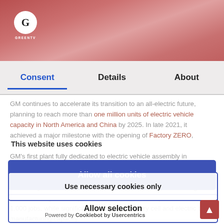[Figure (screenshot): Top portion of a webpage showing a red car interior image with GreenTV logo overlay]
Consent | Details | About (tab bar navigation)
GM continues to accelerate its transition to an all-electric future, planning to reach more than one million units of electric vehicle capacity in North America and China by 2025. In late 2021, it achieved a major milestone with the opening of Factory ZERO, GM's first plant fully dedicated to electric vehicle assembly in Detroit/Hamtramck, Michigan.
This website uses cookies
Allow all cookies
Allow selection
Use necessary cookies only
In January, GM announced a $7 billion investment in four Michigan manufacturing sites, expected to create 4,000 new jobs and retain 1,000 jobs, while significantly increasing battery cell and electric truck manufacturing capacity.
Powered by Cookiebot by Usercentrics